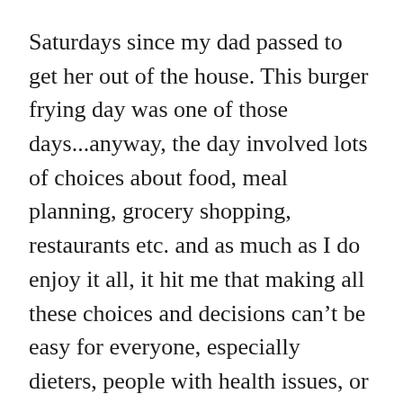Saturdays since my dad passed to get her out of the house. This burger frying day was one of those days...anyway, the day involved lots of choices about food, meal planning, grocery shopping, restaurants etc. and as much as I do enjoy it all, it hit me that making all these choices and decisions can't be easy for everyone, especially dieters, people with health issues, or those with disordered eating and body image concerns.

For example, have you ever gone to a restaurant with a 99 page menu, or how about 3 different menus? Do you struggle, like me, to make a decision on what you want to eat?